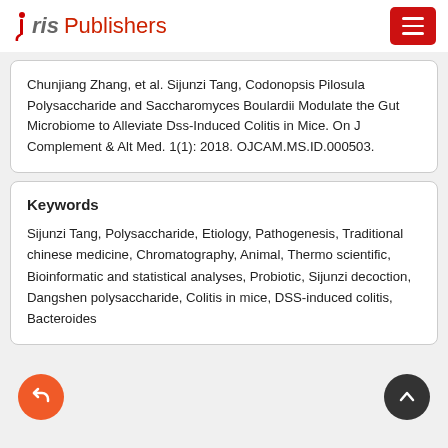Iris Publishers
Chunjiang Zhang, et al. Sijunzi Tang, Codonopsis Pilosula Polysaccharide and Saccharomyces Boulardii Modulate the Gut Microbiome to Alleviate Dss-Induced Colitis in Mice. On J Complement & Alt Med. 1(1): 2018. OJCAM.MS.ID.000503.
Keywords
Sijunzi Tang, Polysaccharide, Etiology, Pathogenesis, Traditional chinese medicine, Chromatography, Animal, Thermo scientific, Bioinformatic and statistical analyses, Probiotic, Sijunzi decoction, Dangshen polysaccharide, Colitis in mice, DSS-induced colitis, Bacteroides